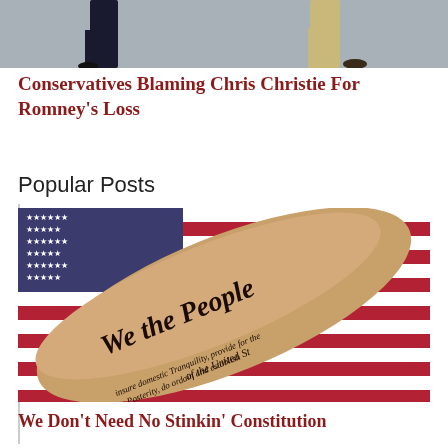[Figure (photo): Two people walking, shown from the waist down — one in dark trousers, one in tan/khaki pants]
Conservatives Blaming Chris Christie For Romney's Loss
Popular Posts
[Figure (photo): An arm with a tattoo reading 'We the People of the United States' in calligraphic script over an American flag background]
We Don't Need No Stinkin' Constitution